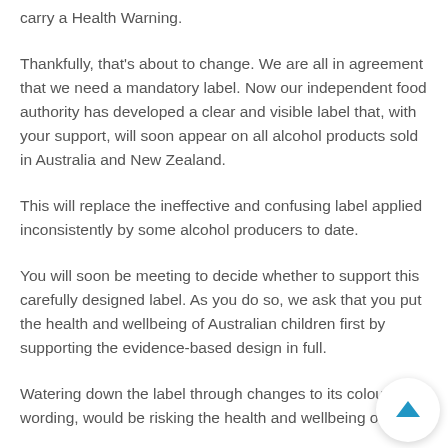carry a Health Warning.
Thankfully, that's about to change. We are all in agreement that we need a mandatory label. Now our independent food authority has developed a clear and visible label that, with your support, will soon appear on all alcohol products sold in Australia and New Zealand.
This will replace the ineffective and confusing label applied inconsistently by some alcohol producers to date.
You will soon be meeting to decide whether to support this carefully designed label. As you do so, we ask that you put the health and wellbeing of Australian children first by supporting the evidence-based design in full.
Watering down the label through changes to its colour, wording, would be risking the health and wellbeing of